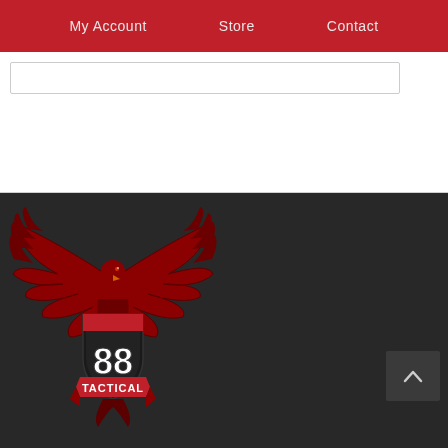My Account   Store   Contact
[Figure (logo): 88 Tactical logo with red eagle wings spread upward and shield bearing '88' with 'TACTICAL' banner, on dark background]